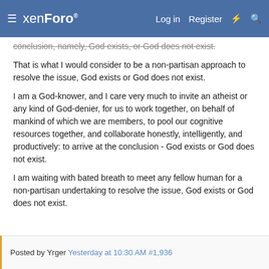xenForo  Log in  Register
conclusion, namely, God exists, or God does not exist.
That is what I would consider to be a non-partisan approach to resolve the issue, God exists or God does not exist.
I am a God-knower, and I care very much to invite an atheist or any kind of God-denier, for us to work together, on behalf of mankind of which we are members, to pool our cognitive resources together, and collaborate honestly, intelligently, and productively: to arrive at the conclusion - God exists or God does not exist.
I am waiting with bated breath to meet any fellow human for a non-partisan undertaking to resolve the issue, God exists or God does not exist.
Posted by Yrger Yesterday at 10:30 AM #1,936